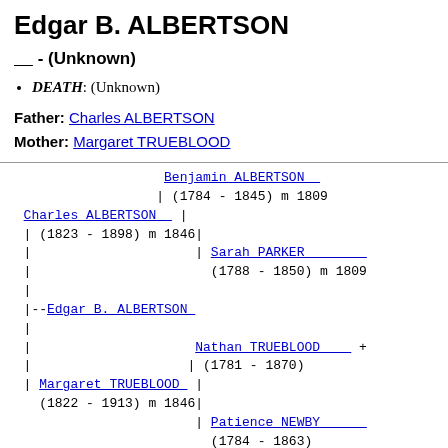Edgar B. ALBERTSON
____ - (Unknown)
DEATH: (Unknown)
Father: Charles ALBERTSON
Mother: Margaret TRUEBLOOD
[Figure (other): Genealogical ancestor tree showing Edgar B. ALBERTSON with parents Charles ALBERTSON (1823-1898) m 1846 and Margaret TRUEBLOOD (1822-1913) m 1846, grandparents Benjamin ALBERTSON (1784-1845) m 1809, Sarah PARKER (1788-1850) m 1809, Nathan TRUEBLOOD (1781-1870), and Patience NEWBY (1784-1863).]